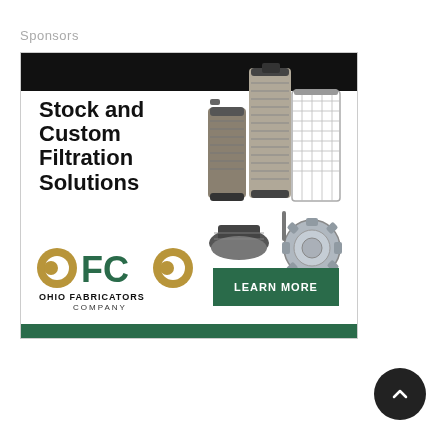Sponsors
[Figure (illustration): Advertisement for Ohio Fabricators Company (OFCO) showing stock and custom filtration solutions including filter elements and strainers, with a Learn More button and OFCO logo.]
[Figure (other): Scroll-to-top button (dark circle with upward chevron arrow)]